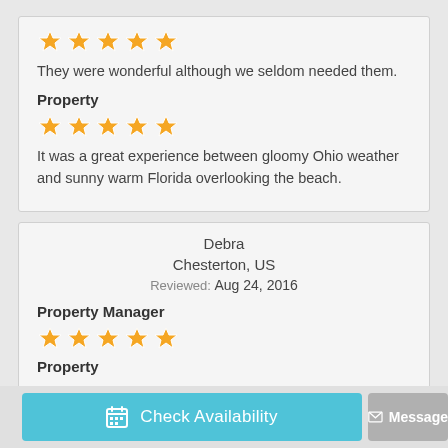[Figure (other): 5 orange stars rating]
They were wonderful although we seldom needed them.
Property
[Figure (other): 5 orange stars rating]
It was a great experience between gloomy Ohio weather and sunny warm Florida overlooking the beach.
Debra
Chesterton, US
Reviewed: Aug 24, 2016
Property Manager
[Figure (other): 5 orange stars rating]
Property